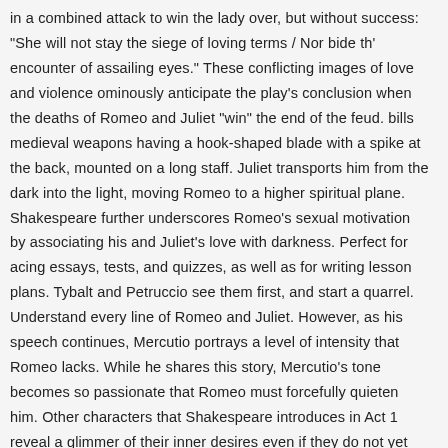in a combined attack to win the lady over, but without success: "She will not stay the siege of loving terms / Nor bide th' encounter of assailing eyes." These conflicting images of love and violence ominously anticipate the play's conclusion when the deaths of Romeo and Juliet "win" the end of the feud. bills medieval weapons having a hook-shaped blade with a spike at the back, mounted on a long staff. Juliet transports him from the dark into the light, moving Romeo to a higher spiritual plane. Shakespeare further underscores Romeo's sexual motivation by associating his and Juliet's love with darkness. Perfect for acing essays, tests, and quizzes, as well as for writing lesson plans. Tybalt and Petruccio see them first, and start a quarrel. Understand every line of Romeo and Juliet. However, as his speech continues, Mercutio portrays a level of intensity that Romeo lacks. While he shares this story, Mercutio's tone becomes so passionate that Romeo must forcefully quieten him. Other characters that Shakespeare introduces in Act 1 reveal a glimmer of their inner desires even if they do not yet have a chance to express them. She says that if he would refuse his Montague name, she